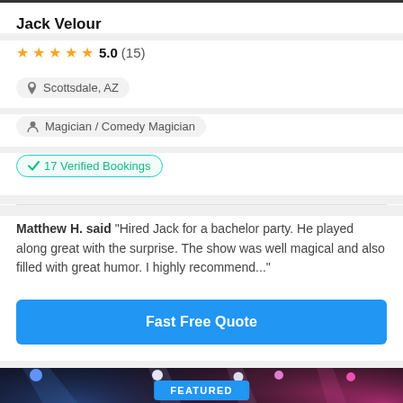Jack Velour
★★★★★ 5.0 (15)
📍 Scottsdale, AZ
👤 Magician / Comedy Magician
✓ 17 Verified Bookings
Matthew H. said "Hired Jack for a bachelor party. He played along great with the surprise. The show was well magical and also filled with great humor. I highly recommend..."
Fast Free Quote
[Figure (photo): FEATURED banner over a stage photo showing a bald bearded man under colorful stage lights (blue, white, pink/magenta)]